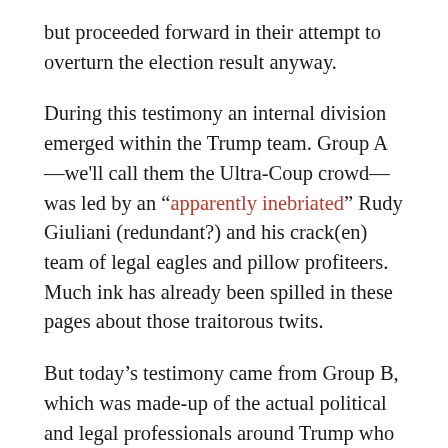but proceeded forward in their attempt to overturn the election result anyway.
During this testimony an internal division emerged within the Trump team. Group A—we'll call them the Ultra-Coup crowd—was led by an "apparently inebriated" Rudy Giuliani (redundant?) and his crack(en) team of legal eagles and pillow profiteers. Much ink has already been spilled in these pages about those traitorous twits.
But today's testimony came from Group B, which was made-up of the actual political and legal professionals around Trump who knew full well that he had lost, told him as much, and then